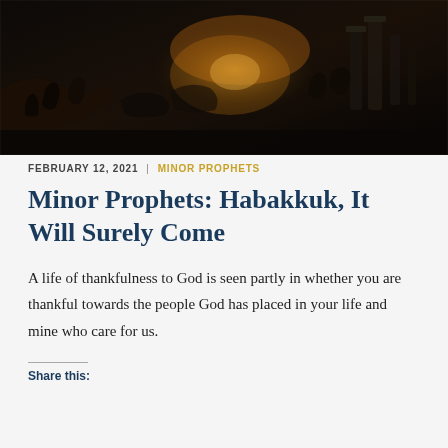[Figure (illustration): Dark dramatic oil painting depicting a chaotic biblical or historical scene with figures, ruins, columns, and glowing light in the background — possibly the destruction of a city. Dark tones with warm orange/gold highlights in the center distance.]
FEBRUARY 12, 2021  |  MINOR PROPHETS
Minor Prophets: Habakkuk, It Will Surely Come
A life of thankfulness to God is seen partly in whether you are thankful towards the people God has placed in your life and mine who care for us.
Share this: